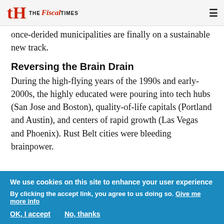THE FiscalTIMES
once-derided municipalities are finally on a sustainable new track.
Reversing the Brain Drain
During the high-flying years of the 1990s and early-2000s, the highly educated were pouring into tech hubs (San Jose and Boston), quality-of-life capitals (Portland and Austin), and centers of rapid growth (Las Vegas and Phoenix). Rust Belt cities were bleeding brainpower.
We use cookies on this site to enhance your user experience
By clicking the accept link, you agree to us doing so. Give me more info
OK, I accept   No, thanks